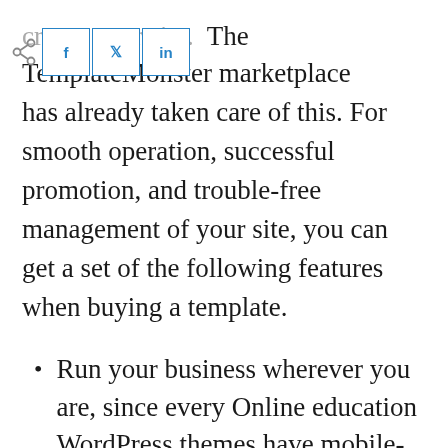create your site. The TemplateMonster marketplace has already taken care of this. For smooth operation, successful promotion, and trouble-free management of your site, you can get a set of the following features when buying a template.
Run your business wherever you are, since every Online education WordPress themes have mobile-friendly layouts.
Enjoy effortless code-free modification of online education WordPress themes using the drag-and-drop functionality. Most themes are pre-loaded with the Elementor